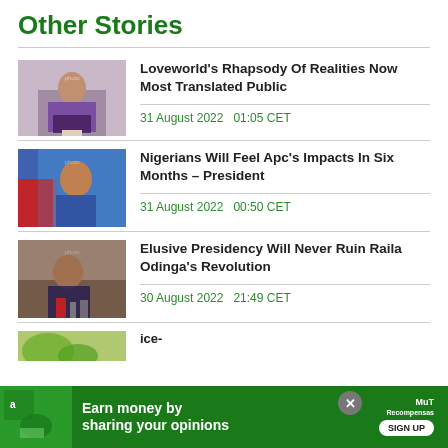Other Stories
Loveworld's Rhapsody Of Realities Now Most Translated Public
31 August 2022   01:05 CET
Nigerians Will Feel Apc's Impacts In Six Months – President
31 August 2022   00:50 CET
Elusive Presidency Will Never Ruin Raila Odinga's Revolution
30 August 2022   21:49 CET
[Figure (photo): Advertisement banner: Earn money by sharing your opinions - Sign Up]
Earn money by sharing your opinions   SIGN UP